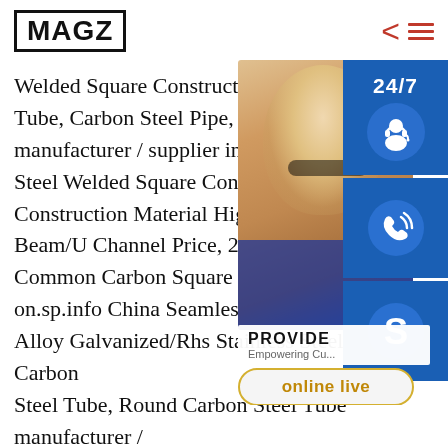MAGZ
Welded Square Construction Pipe – China Steel Tube, Carbon Steel Pipe, Pre Galvanized manufacturer / supplier in China, offering Steel Welded Square Construction Pip Construction Material High Strength Beam/U Channel Price, 200*200 10m Common Carbon Square Steel Tube (on.sp.info China Seamless/ ERW Spiral Alloy Galvanized/Rhs Stainless Steel Tube, Carbon Steel Tube, Round Carbon Steel Tube manufacturer / supplier in China, offering Seamless/ ERW Spiral Weld / Alloy Galvanized/Rhs Hollow Section Ms Gi Square/Rectangular/Round Carbon /Stainless Steel
[Figure (photo): Customer support representative photo with 24/7 overlay icon, phone icon, Skype icon, PROVIDE Empowering Customers tagline, and online live button]